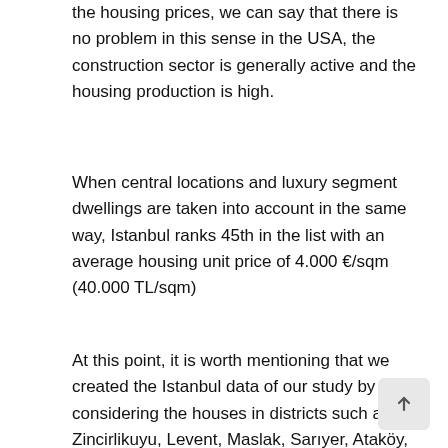the housing prices, we can say that there is no problem in this sense in the USA, the construction sector is generally active and the housing production is high.
When central locations and luxury segment dwellings are taken into account in the same way, Istanbul ranks 45th in the list with an average housing unit price of 4.000 €/sqm (40.000 TL/sqm)
At this point, it is worth mentioning that we created the Istanbul data of our study by considering the houses in districts such as Zincirlikuyu, Levent, Maslak, Sarıyer, Ataköy, Bakırköy, Göktürk, Kadıköy that appeal to the high-income group.